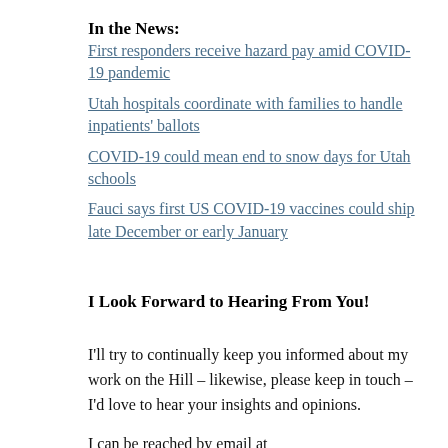In the News:
First responders receive hazard pay amid COVID-19 pandemic
Utah hospitals coordinate with families to handle inpatients' ballots
COVID-19 could mean end to snow days for Utah schools
Fauci says first US COVID-19 vaccines could ship late December or early January
I Look Forward to Hearing From You!
I'll try to continually keep you informed about my work on the Hill – likewise, please keep in touch – I'd love to hear your insights and opinions.
I can be reached by email at